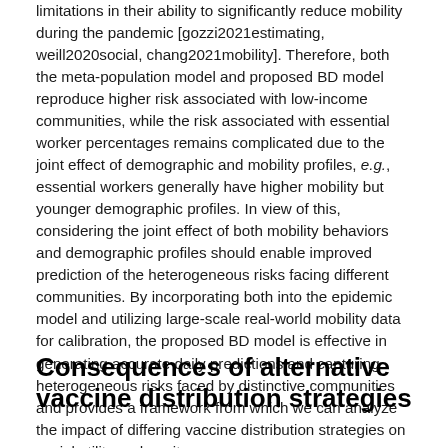limitations in their ability to significantly reduce mobility during the pandemic [gozzi2021estimating, weill2020social, chang2021mobility]. Therefore, both the meta-population model and proposed BD model reproduce higher risk associated with low-income communities, while the risk associated with essential worker percentages remains complicated due to the joint effect of demographic and mobility profiles, e.g., essential workers generally have higher mobility but younger demographic profiles. In view of this, considering the joint effect of both mobility behaviors and demographic profiles should enable improved prediction of the heterogeneous risks facing different communities. By incorporating both into the epidemic model and utilizing large-scale real-world mobility data for calibration, the proposed BD model is effective in generating accurate daily predictions and capturing heterogeneous risks faced by distinctive communities and provides a framework from which we can analyze the impact of differing vaccine distribution strategies on social utility and equity.
Consequences of alternative vaccine distribution strategies